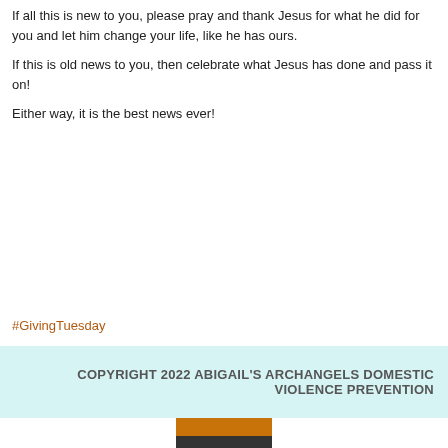If all this is new to you, please pray and thank Jesus for what he did for you and let him change your life, like he has ours.
If this is old news to you, then celebrate what Jesus has done and pass it on!
Either way, it is the best news ever!
#GivingTuesday
COPYRIGHT 2022 ABIGAIL'S ARCHANGELS DOMESTIC VIOLENCE PREVENTION